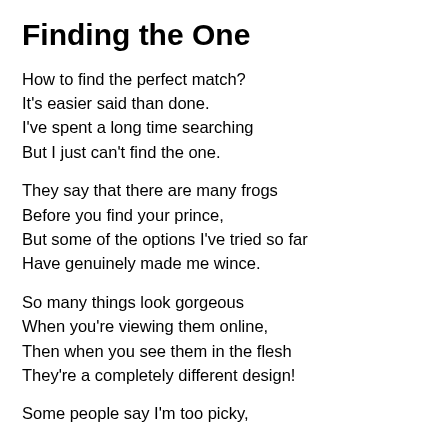Finding the One
How to find the perfect match?
It's easier said than done.
I've spent a long time searching
But I just can't find the one.
They say that there are many frogs
Before you find your prince,
But some of the options I've tried so far
Have genuinely made me wince.
So many things look gorgeous
When you're viewing them online,
Then when you see them in the flesh
They're a completely different design!
Some people say I'm too picky,